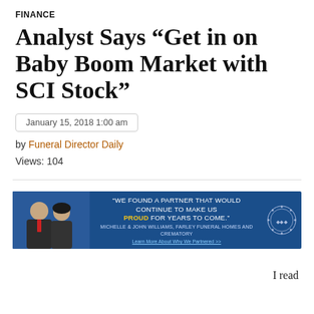FINANCE
Analyst Says “Get in on Baby Boom Market with SCI Stock”
January 15, 2018 1:00 am
by Funeral Director Daily
Views: 104
[Figure (photo): Advertisement banner with blue background showing two people (man and woman) and text: 'WE FOUND A PARTNER THAT WOULD CONTINUE TO MAKE US PROUD FOR YEARS TO COME.' MICHELLE & JOHN WILLIAMS, FARLEY FUNERAL HOMES AND CREMATORY. Learn More About Why We Partnered >>]
I read

an